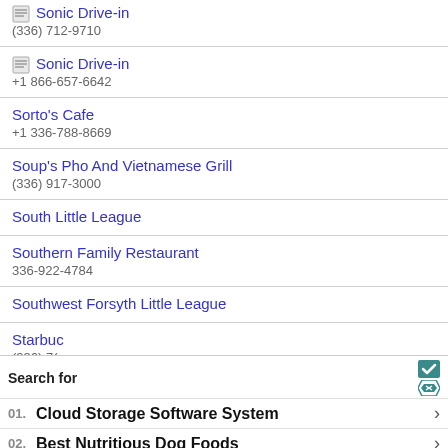Sonic Drive-in
(336) 712-9710
Sonic Drive-in
+1 866-657-6642
Sorto's Cafe
+1 336-788-8669
Soup's Pho And Vietnamese Grill
(336) 917-3000
South Little League
Southern Family Restaurant
336-922-4784
Southwest Forsyth Little League
Starbuc
(336) 7(
Starbuc
(336) 9
[Figure (other): Ad overlay with Search for header and two sponsored results: 01. Cloud Storage Software System, 02. Best Nutritious Dog Foods. Yahoo! Search | Sponsored footer.]